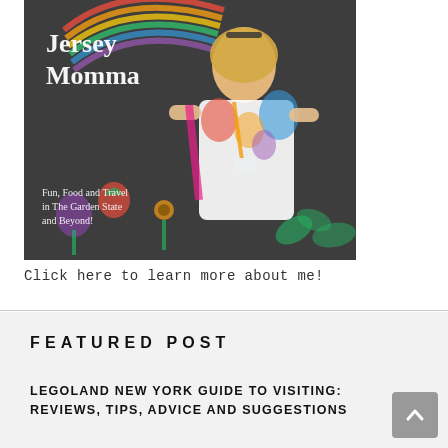[Figure (photo): Photo of a smiling blonde woman in a colorful tie-dye jacket standing in front of a chalk art mural. Text on mural reads 'Jersey Momma' and 'Fun, Food and Travel in The Garden State and Beyond!']
Click here to learn more about me!
FEATURED POST
LEGOLAND NEW YORK GUIDE TO VISITING: REVIEWS, TIPS, ADVICE AND SUGGESTIONS